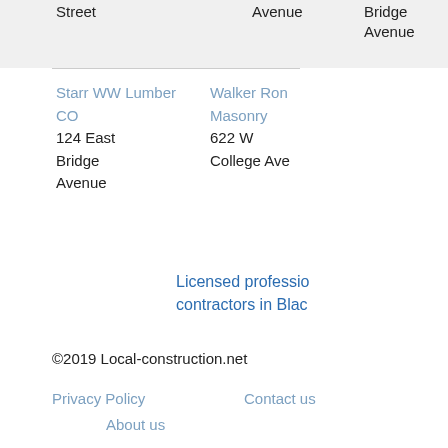Street
Avenue
Bridge Avenue
Starr WW Lumber CO
124 East Bridge Avenue
Walker Ron Masonry
622 W College Ave
Licensed professionals contractors in Blac
©2019 Local-construction.net
Privacy Policy
Contact us
About us